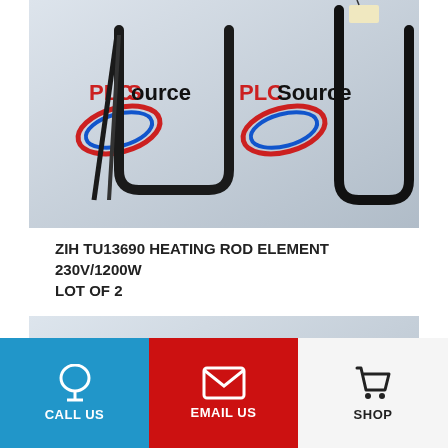[Figure (photo): Photo of ZIH TU13690 heating rod element components on white PLC Source branded background, showing two bent metal heating rod elements with wire leads]
ZIH TU13690 HEATING ROD ELEMENT 230V/1200W LOT OF 2
[Figure (photo): Photo of a flat rectangular loop heating rod element placed on white PLC Source branded background, showing the element from above with two PLC Source logos visible]
CALL US  EMAIL US  SHOP